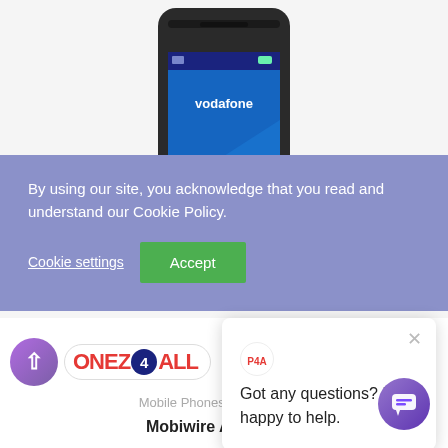[Figure (screenshot): A Mobiwire Ayasha 1.8 feature phone displayed against a white background, showing a Vodafone screen with blue design.]
By using our site, you acknowledge that you read and understand our Cookie Policy.
Cookie settings
Accept
Got any questions? I'm happy to help.
[Figure (logo): Phonez4All logo with red and blue colors on white pill-shaped badge]
Mobile Phones, Other Brands
Mobiwire Ayasha 1.8